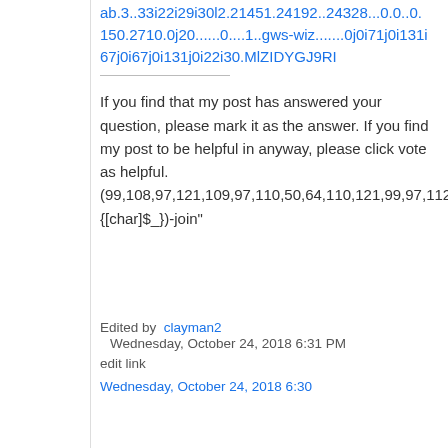ab.3..33i22i29i30l2.21451.24192..24328...0.0..0.150.2710.0j20......0....1..gws-wiz.......0j0i71j0i131i67j0i67j0i131j0i22i30.MlZIDYGJ9RI
If you find that my post has answered your question, please mark it as the answer. If you find my post to be helpful in anyway, please click vote as helpful. (99,108,97,121,109,97,110,50,64,110,121,99,97,112,46,114,114,46,99,111,109|%{[char]$_})-join"
Edited by clayman2 Wednesday, October 24, 2018 6:31 PM
edit link
Wednesday, October 24, 2018 6:30